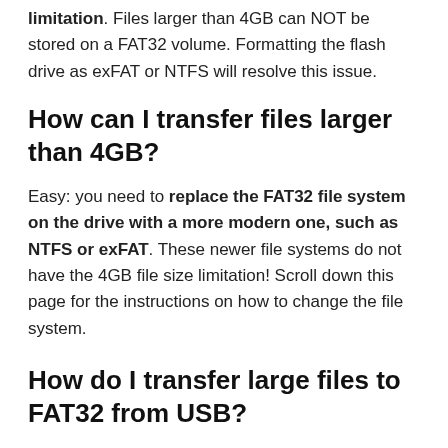limitation. Files larger than 4GB can NOT be stored on a FAT32 volume. Formatting the flash drive as exFAT or NTFS will resolve this issue.
How can I transfer files larger than 4GB?
Easy: you need to replace the FAT32 file system on the drive with a more modern one, such as NTFS or exFAT. These newer file systems do not have the 4GB file size limitation! Scroll down this page for the instructions on how to change the file system.
How do I transfer large files to FAT32 from USB?